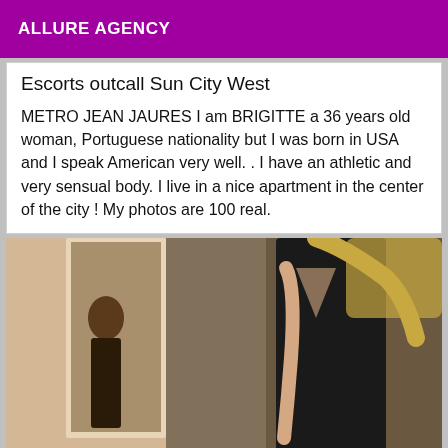ALLURE AGENCY
Escorts outcall Sun City West
METRO JEAN JAURES I am BRIGITTE a 36 years old woman, Portuguese nationality but I was born in USA and I speak American very well. . I have an athletic and very sensual body. I live in a nice apartment in the center of the city ! My photos are 100 real.
[Figure (photo): Woman in black dress photographed in a room, partial mirror reflection visible on the left side. Blonde hair, standing pose showing side/back profile.]